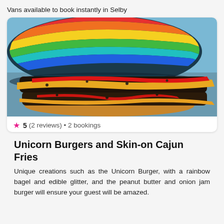Vans available to book instantly in Selby
[Figure (photo): Close-up photo of a double cheeseburger with a rainbow-striped colorful bun, melted cheese, ketchup, and dark seasoned meat patties]
★ 5 (2 reviews) • 2 bookings
Unicorn Burgers and Skin-on Cajun Fries
Unique creations such as the Unicorn Burger, with a rainbow bagel and edible glitter, and the peanut butter and onion jam burger will ensure your guest will be amazed.